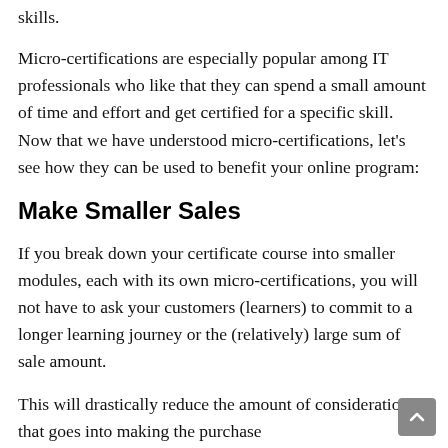skills.
Micro-certifications are especially popular among IT professionals who like that they can spend a small amount of time and effort and get certified for a specific skill. Now that we have understood micro-certifications, let’s see how they can be used to benefit your online program:
Make Smaller Sales
If you break down your certificate course into smaller modules, each with its own micro-certifications, you will not have to ask your customers (learners) to commit to a longer learning journey or the (relatively) large sum of sale amount.
This will drastically reduce the amount of consideration that goes into making the purchase